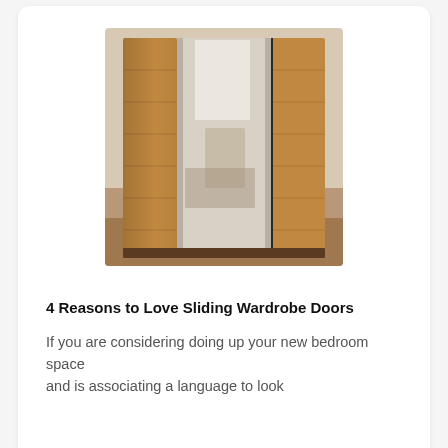[Figure (photo): A sliding wardrobe with wooden panel doors and a central mirror panel, reflecting a bedroom interior. The wardrobe has a tall wood-grain finish on both sides with a large mirror in the middle, photographed in a bedroom setting.]
4 Reasons to Love Sliding Wardrobe Doors
If you are considering doing up your new bedroom space and is associating a language to look